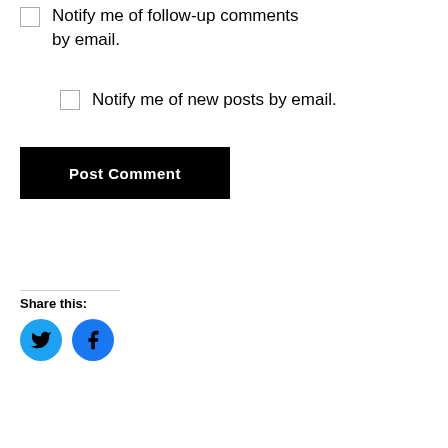Notify me of follow-up comments by email.
Notify me of new posts by email.
Post Comment
Share this:
[Figure (illustration): Twitter and Facebook social share icon buttons (blue circles with bird and f icons)]